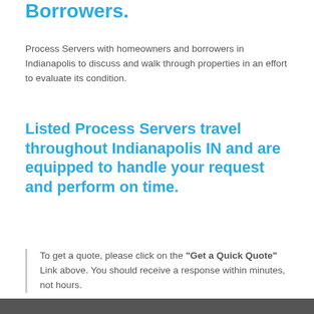Borrowers.
Process Servers with homeowners and borrowers in Indianapolis to discuss and walk through properties in an effort to evaluate its condition.
Listed Process Servers travel throughout Indianapolis IN and are equipped to handle your request and perform on time.
To get a quote, please click on the "Get a Quick Quote" Link above. You should receive a response within minutes, not hours.